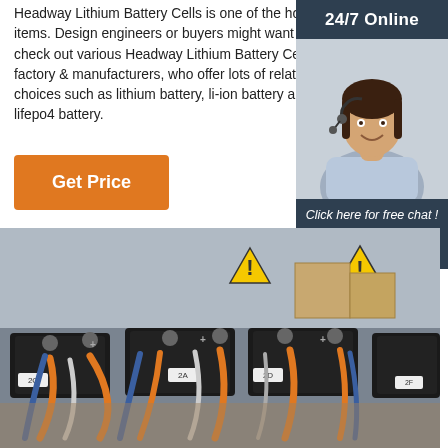Headway Lithium Battery Cells is one of the hot items. Design engineers or buyers might want to check out various Headway Lithium Battery Cells factory & manufacturers, who offer lots of related choices such as lithium battery, li-ion battery and lifepo4 battery.
Get Price
24/7 Online
[Figure (photo): Woman with headset smiling, customer service representative]
Click here for free chat !
QUOTATION
[Figure (photo): Industrial battery packs with orange cables and wiring connectors on a workbench]